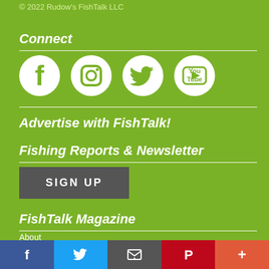© 2022 Rudow's FishTalk LLC
Connect
[Figure (infographic): Four social media icons in white circles on green background: Facebook, Instagram, Twitter, YouTube]
Advertise with FishTalk!
Fishing Reports & Newsletter
SIGN UP
FishTalk Magazine
About
Staff
Our Mission
Social share bar: Facebook, Twitter, Email, Pinterest, More